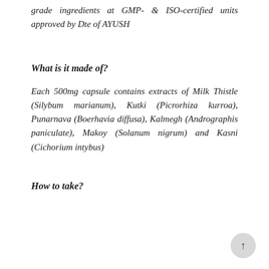grade ingredients at GMP- & ISO-certified units approved by Dte of AYUSH
What is it made of?
Each 500mg capsule contains extracts of Milk Thistle (Silybum marianum), Kutki (Picrorhiza kurroa), Punarnava (Boerhavia diffusa), Kalmegh (Andrographis paniculate), Makoy (Solanum nigrum) and Kasni (Cichorium intybus)
How to take?